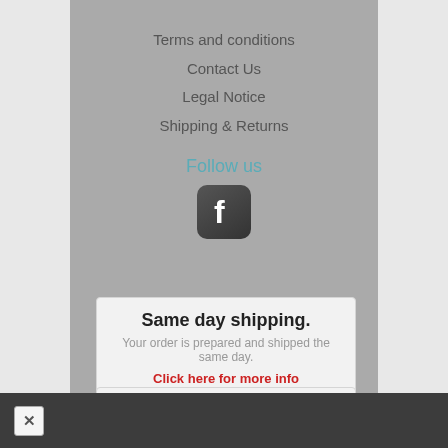Terms and conditions
Contact Us
Legal Notice
Shipping & Returns
Follow us
[Figure (logo): Facebook icon — dark rounded square with white 'f' letter]
Same day shipping.
Your order is prepared and shipped the same day.
Click here for more info
Ultra secure payment!
100% secure payment, directly on the website of the EC or BNP.